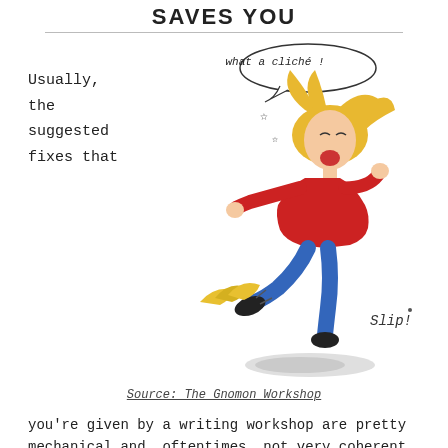SAVES YOU
Usually,
the
suggested
fixes that
[Figure (illustration): Cartoon of a blonde woman in a red top and blue jeans slipping on a banana peel, mouth open yelling with a speech bubble saying 'what a cliché!' and the word 'Slip!' nearby. Stars indicate impact. Shadow beneath her feet.]
Source: The Gnomon Workshop
you're given by a writing workshop are pretty mechanical and, oftentimes, not very coherent.